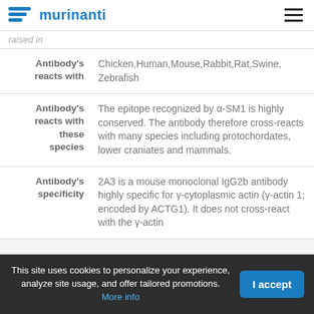murinanti
raised in
| Label | Value |
| --- | --- |
| Antibody's reacts with | Chicken,Human,Mouse,Rabbit,Rat,Swine,Zebrafish |
| Antibody's reacts with these species | The epitope recognized by α-SM1 is highly conserved. The antibody therefore cross-reacts with many species including protochordates, lower craniates and mammals. |
| Antibody's specificity | 2A3 is a mouse monoclonal IgG2b antibody highly specific for γ-cytoplasmic actin (γ-actin 1; encoded by ACTG1). It does not cross-react with the γ-actin |
This site uses cookies to personalize your experience, analyze site usage, and offer tailored promotions. More info